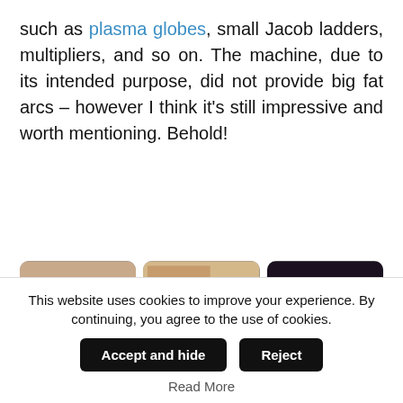such as plasma globes, small Jacob ladders, multipliers, and so on. The machine, due to its intended purpose, did not provide big fat arcs – however I think it's still impressive and worth mentioning. Behold!
[Figure (photo): Six photos arranged in a 3x2 grid showing electrical plasma effects: electric arc/spark, Jacob's ladder flame arc, plasma globe with hand touching, and three more electrical experiment images.]
This website uses cookies to improve your experience. By continuing, you agree to the use of cookies.
Accept and hide
Reject
Read More